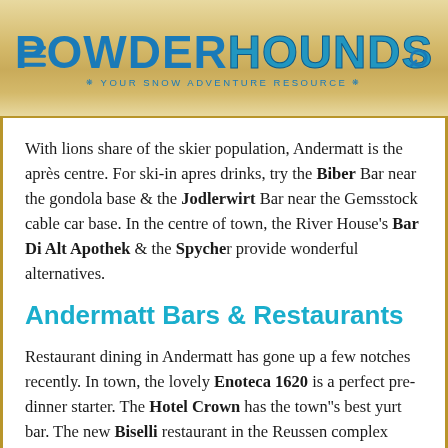POWDERHOUNDS — YOUR SNOW ADVENTURE RESOURCE
With lions share of the skier population, Andermatt is the après centre. For ski-in apres drinks, try the Biber Bar near the gondola base & the Jodlerwirt Bar near the Gemsstock cable car base. In the centre of town, the River House's Bar Di Alt Apothek & the Spycher provide wonderful alternatives.
Andermatt Bars & Restaurants
Restaurant dining in Andermatt has gone up a few notches recently. In town, the lovely Enoteca 1620 is a perfect pre-dinner starter. The Hotel Crown has the town''s best yurt bar. The new Biselli restaurant in the Reussen complex across from the Radisson Blu Hotel is brilliant. Cheaper eats are still accessible with burgers, pizza & simple meals at all the aforementioned bars. Spycher has the best pizza.